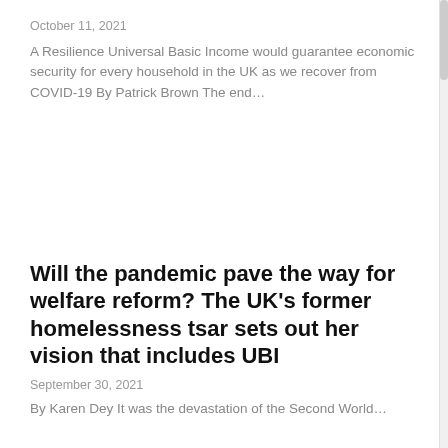October 11, 2021
A Resilience Universal Basic Income would guarantee economic security for every household in the UK as we recover from COVID-19 By Patrick Brown The end…
Will the pandemic pave the way for welfare reform? The UK's former homelessness tsar sets out her vision that includes UBI
September 30, 2021
By Karen Dey It was the devastation of the Second World…